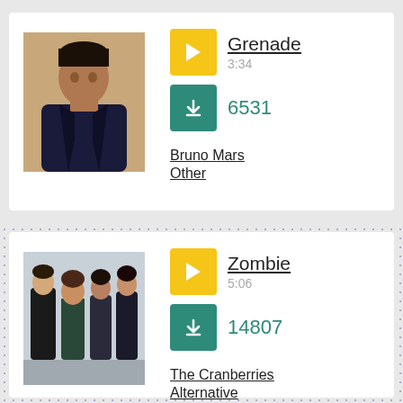[Figure (photo): Photo of Bruno Mars, a man with dark hair wearing a dark jacket]
Grenade
3:34
6531
Bruno Mars
Other
[Figure (photo): Group photo of The Cranberries band members standing together]
Zombie
5:06
14807
The Cranberries
Alternative